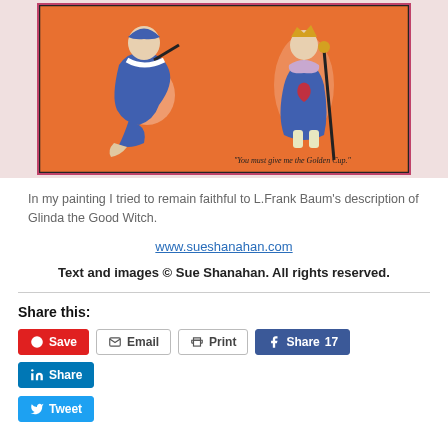[Figure (illustration): Vintage illustration on orange background showing two characters in blue and white costumes. One seated figure plays a pipe/flute, another standing figure holds a staff. Caption reads: "You must give me the Golden Cup."]
In my painting I tried to remain faithful to L.Frank Baum's description of Glinda the Good Witch.
www.sueshanahan.com
Text and images © Sue Shanahan. All rights reserved.
Share this:
Save  Email  Print  Share 17  Share  Tweet